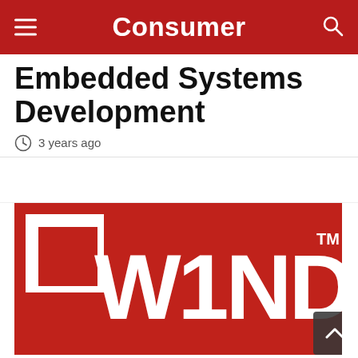Consumer
Embedded Systems Development
3 years ago
[Figure (logo): Wind River logo on red background — large white 'W1ND' text with a white L-shaped border element in the top-left, and 'TM' superscript mark in upper-right]